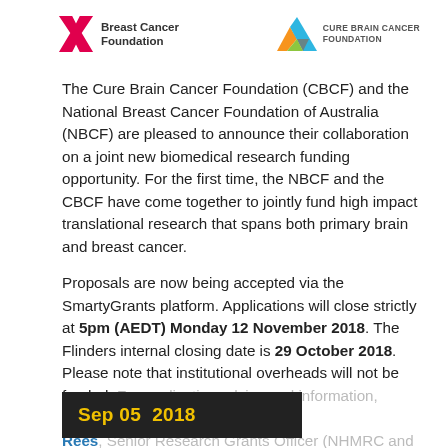[Figure (logo): National Breast Cancer Foundation logo (pink X mark with text) and Cure Brain Cancer Foundation logo (colourful triangle with text)]
The Cure Brain Cancer Foundation (CBCF) and the National Breast Cancer Foundation of Australia (NBCF) are pleased to announce their collaboration on a joint new biomedical research funding opportunity. For the first time, the NBCF and the CBCF have come together to jointly fund high impact translational research that spans both primary brain and breast cancer.
Proposals are now being accepted via the SmartyGrants platform. Applications will close strictly at 5pm (AEDT) Monday 12 November 2018. The Flinders internal closing date is 29 October 2018. Please note that institutional overheads will not be funded. For application advice and information, please contact Gareth Rees, Senior Research Grants Officer (NHMRC and... read more ›
Sep 05  2018